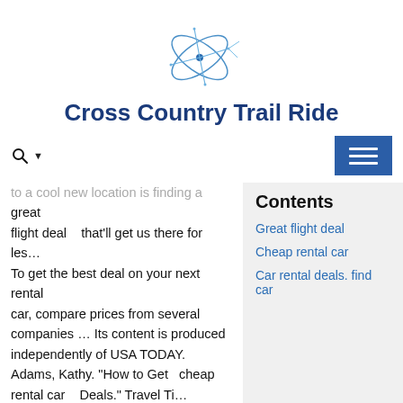[Figure (logo): Cross Country Trail Ride website logo — blue geometric star/atom shape with orbital lines and dots]
Cross Country Trail Ride
[Figure (other): Navigation bar with search icon (magnifying glass + dropdown arrow) on the left and blue hamburger menu button on the right]
to a cool new location is finding a great flight deal that'll get us there for les… To get the best deal on your next rental car, compare prices from several companies … Its content is produced independently of USA TODAY. Adams, Kathy. "How to Get cheap rental car Deals." Travel Ti…
Contents
Great flight deal
Cheap rental car
Car rental deals. find car
Best Weekend Car Rental Browse the best car rental deals. find car